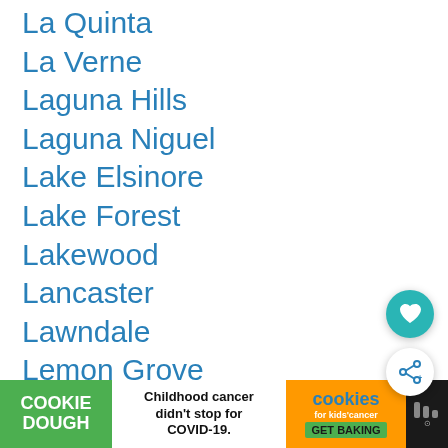La Quinta
La Verne
Laguna Hills
Laguna Niguel
Lake Elsinore
Lake Forest
Lakewood
Lancaster
Lawndale
Lemon Grove
Lincoln
Livermore
Lodi
[Figure (screenshot): Advertisement banner: Cookie Dough / cookies for kids' cancer - Childhood cancer didn't stop for COVID-19. GET BAKING]